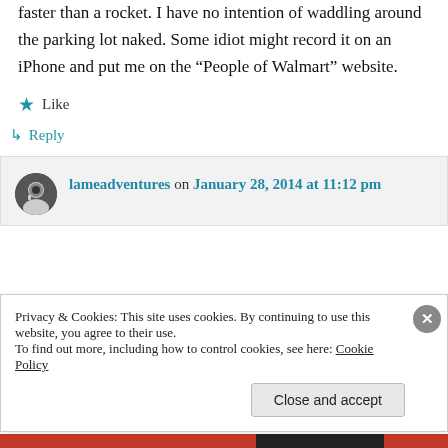faster than a rocket. I have no intention of waddling around the parking lot naked. Some idiot might record it on an iPhone and put me on the “People of Walmart” website.
Like
Reply
lameadventures on January 28, 2014 at 11:12 pm
Privacy & Cookies: This site uses cookies. By continuing to use this website, you agree to their use.
To find out more, including how to control cookies, see here: Cookie Policy